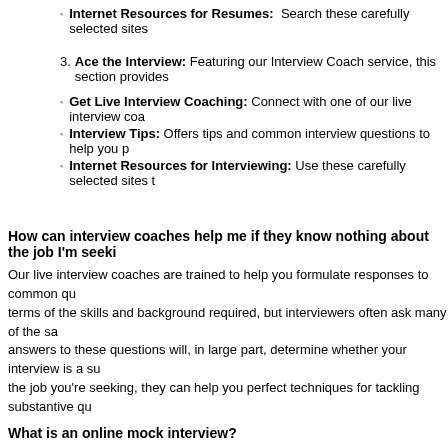Internet Resources for Resumes: Search these carefully selected sites
3. Ace the Interview: Featuring our Interview Coach service, this section provides
Get Live Interview Coaching: Connect with one of our live interview coa
Interview Tips: Offers tips and common interview questions to help you p
Internet Resources for Interviewing: Use these carefully selected sites t
How can interview coaches help me if they know nothing about the job I'm seeki
Our live interview coaches are trained to help you formulate responses to common que terms of the skills and background required, but interviewers often ask many of the sa answers to these questions will, in large part, determine whether your interview is a su the job you're seeking, they can help you perfect techniques for tackling substantive qu
What is an online mock interview?
An online mock interview helps you improve your interviewing skills by giving you plent common interview questions.
You respond through instant messaging
At the end of your interview, your interview coach will provide you with cor